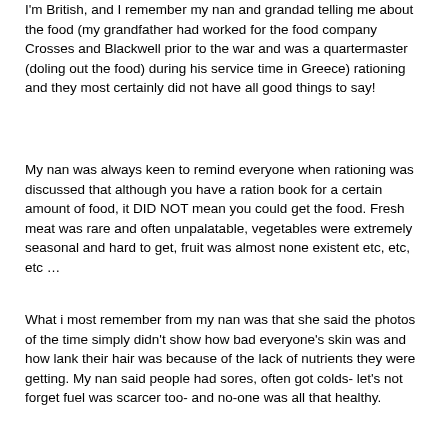I'm British, and I remember my nan and grandad telling me about the food (my grandfather had worked for the food company Crosses and Blackwell prior to the war and was a quartermaster (doling out the food) during his service time in Greece) rationing and they most certainly did not have all good things to say!
My nan was always keen to remind everyone when rationing was discussed that although you have a ration book for a certain amount of food, it DID NOT mean you could get the food. Fresh meat was rare and often unpalatable, vegetables were extremely seasonal and hard to get, fruit was almost none existent etc, etc, etc …
What i most remember from my nan was that she said the photos of the time simply didn't show how bad everyone's skin was and how lank their hair was because of the lack of nutrients they were getting. My nan said people had sores, often got colds- let's not forget fuel was scarcer too- and no-one was all that healthy.